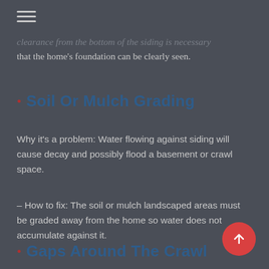≡ (hamburger menu icon)
clearance from the bottom of the siding is necessary that the home's foundation can be clearly seen.
• Soil Or Mulch Grading
Why it's a problem: Water flowing against siding will cause decay and possibly flood a basement or crawl space.
– How to fix: The soil or mulch landscaped areas must be graded away from the home so water does not accumulate against it.
• Gaps Around The Crawl